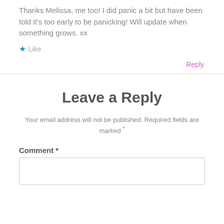Thanks Melissa, me too! I did panic a bit but have been told it's too early to be panicking! Will update when something grows. xx
★ Like
Reply
Leave a Reply
Your email address will not be published. Required fields are marked *
Comment *